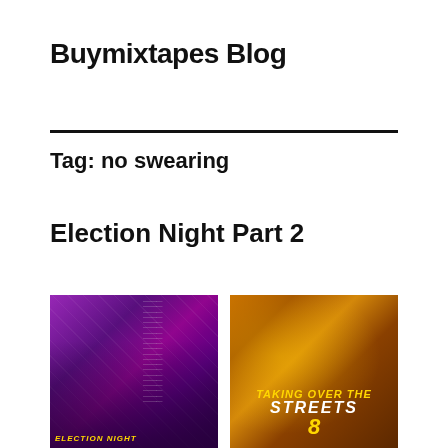Buymixtapes Blog
Tag: no swearing
Election Night Part 2
[Figure (photo): Purple-toned mixtape cover with crowd of people and track listing text on right side, with title text at bottom]
[Figure (photo): Golden-orange toned mixtape cover 'Taking Over The Streets 8' with rapper figure in foreground]